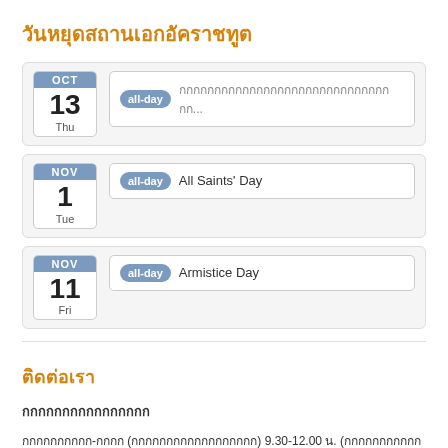วันหยุดสถานเอกอัคราชทูต
OCT 13 Thu – all-day – [Thai text]...
NOV 1 Tue – all-day – All Saints' Day
NOV 11 Fri – all-day – Armistice Day
ติดต่อเรา
[Thai bold text]
[Thai text] (วันจันทร์-วันศุกร์) 9.30-12.00 น. ([Thai text] 13.00-14.00)